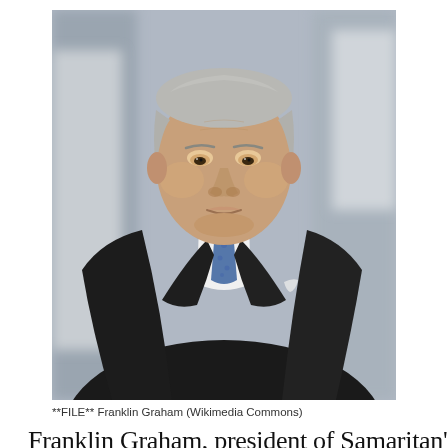[Figure (photo): A photo of Franklin Graham, a middle-aged white man with gray hair, wearing a dark suit jacket, white dress shirt, and blue patterned tie, looking upward slightly. Background is blurred.]
**FILE** Franklin Graham (Wikimedia Commons)
Franklin Graham, president of Samaritan's